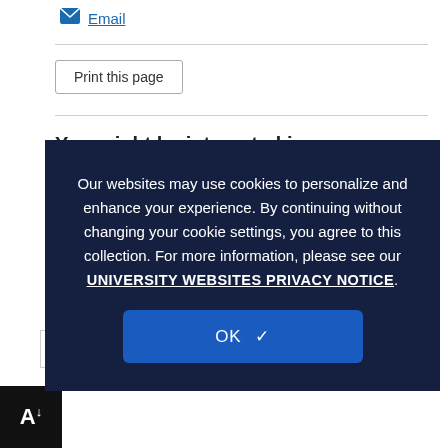✉ Email
Print this page
You might be interested in:
← Previous
Next →
Our websites may use cookies to personalize and enhance your experience. By continuing without changing your cookie settings, you agree to this collection. For more information, please see our UNIVERSITY WEBSITES PRIVACY NOTICE.
OK ✓
Search this site...